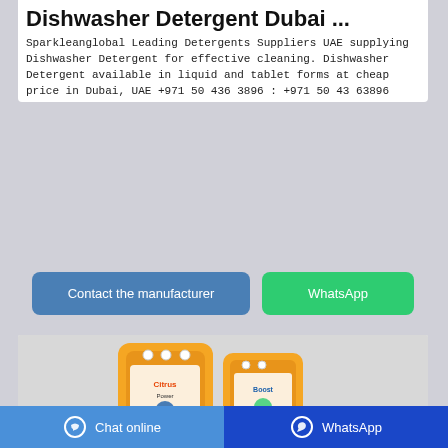Dishwasher Detergent Dubai ...
Sparkleanglobal Leading Detergents Suppliers UAE supplying Dishwasher Detergent for effective cleaning. Dishwasher Detergent available in liquid and tablet forms at cheap price in Dubai, UAE +971 50 436 3896 : +971 50 43 63896
[Figure (other): Two orange product bags of dishwasher detergent on a grey background]
Chat online   WhatsApp